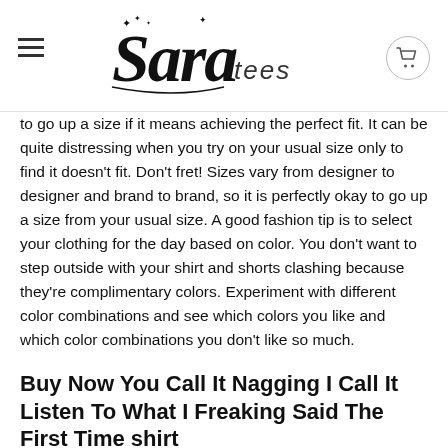Sara Tees
to go up a size if it means achieving the perfect fit. It can be quite distressing when you try on your usual size only to find it doesn't fit. Don't fret! Sizes vary from designer to designer and brand to brand, so it is perfectly okay to go up a size from your usual size. A good fashion tip is to select your clothing for the day based on color. You don't want to step outside with your shirt and shorts clashing because they're complimentary colors. Experiment with different color combinations and see which colors you like and which color combinations you don't like so much.
Buy Now You Call It Nagging I Call It Listen To What I Freaking Said The First Time shirt
Skinny jeans are what is in style now. These kinds of jeans are snug around all areas of your body, from you waist and rear